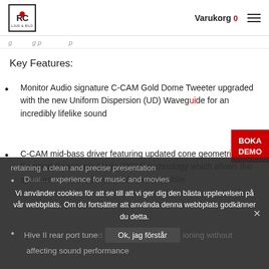RC Ljud & Bild — Varukorg 0
Key Features:
Monitor Audio signature C-CAM Gold Dome Tweeter upgraded with the new Uniform Dispersion (UD) Waveguide for an incredibly lifelike sound
C-CAM mid-bass driver featuring updated cone geometries and Damped Concentric Mode (DCM) technology which allows the speaker to have a deeper, fuller sound while retaining a clean and precise presentation
D… experience for music and movies
Hive II rear port tuned… ioning without affecting sound performance
BOKA DEMO
Vi använder cookies för att se till att vi ger dig den bästa upplevelsen på vår webbplats. Om du fortsätter att använda denna webbplats godkänner du detta.
Ok, jag förstår